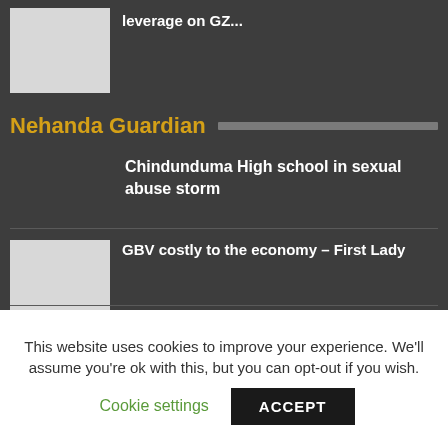leverage on GZ...
Nehanda Guardian
Chindunduma High school in sexual abuse storm
GBV costly to the economy – First Lady
Mash Central harvests over 80% of land put under winter...
This website uses cookies to improve your experience. We'll assume you're ok with this, but you can opt-out if you wish.
Cookie settings
ACCEPT